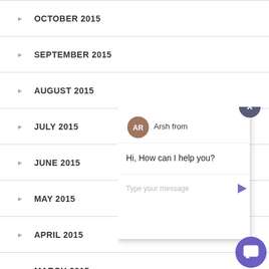OCTOBER 2015
SEPTEMBER 2015
AUGUST 2015
JULY 2015
JUNE 2015
MAY 2015
APRIL 2015
MARCH 2015
FEBRUARY 2015
[Figure (screenshot): Chat widget popup with close button (X) in dark circle, showing agent 'AR' avatar with name 'Arsh from', message 'Hi, How can I help you?', and a text input area with placeholder 'Type your message' and send arrow. Purple chat bubble icon in bottom right corner.]